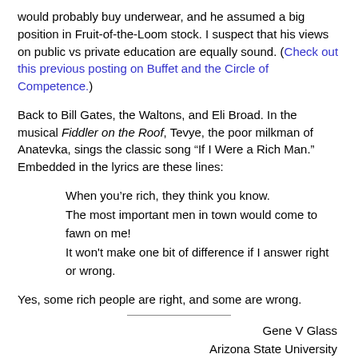would probably buy underwear, and he assumed a big position in Fruit-of-the-Loom stock. I suspect that his views on public vs private education are equally sound. (Check out this previous posting on Buffet and the Circle of Competence.)
Back to Bill Gates, the Waltons, and Eli Broad. In the musical Fiddler on the Roof, Tevye, the poor milkman of Anatevka, sings the classic song “If I Were a Rich Man.” Embedded in the lyrics are these lines:
When you’re rich, they think you know.
The most important men in town would come to fawn on me!
It won't make one bit of difference if I answer right or wrong.
Yes, some rich people are right, and some are wrong.
Gene V Glass
Arizona State University
National Education Policy Center